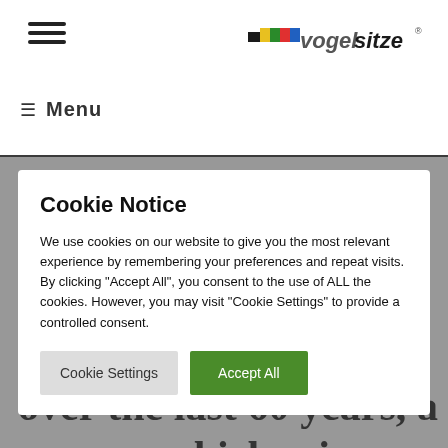vogelsitze logo and hamburger menu
≡ Menu
Cookie Notice
We use cookies on our website to give you the most relevant experience by remembering your preferences and repeat visits. By clicking "Accept All", you consent to the use of ALL the cookies. However, you may visit "Cookie Settings" to provide a controlled consent.
Cookie Settings  Accept All
over the last 60 years, a name which is an obligation and a challenge at the same time and a name on which our customers are always making more demands. They not only want a